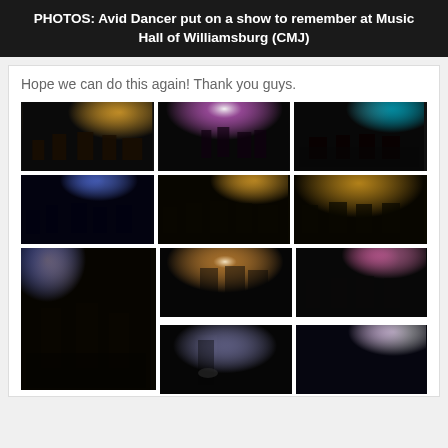PHOTOS: Avid Dancer put on a show to remember at Music Hall of Williamsburg (CMJ)
Hope we can do this again! Thank you guys.
[Figure (photo): Band performing on stage with warm orange/yellow stage lighting]
[Figure (photo): Band performing on stage with bright pink/white spotlight]
[Figure (photo): Band performing on stage with red and cyan lighting]
[Figure (photo): Band performing on stage with blue stage lighting]
[Figure (photo): Band performing on stage with warm orange lighting, multiple musicians]
[Figure (photo): Band performing on stage with warm orange lighting]
[Figure (photo): Tall photo: band performing on stage with orange/amber lighting, close-up guitarist]
[Figure (photo): Singer/guitarist performing on stage close-up, dramatic lighting]
[Figure (photo): Band performing with pink/magenta stage lighting]
[Figure (photo): Singer performing with dark backdrop]
[Figure (photo): Band performing with purple stage lighting]